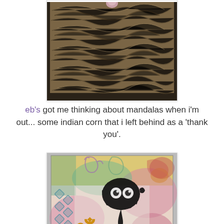[Figure (photo): Top portion of a textured photo showing brown fibrous/mossy organic material in a dark frame, with a small round pink/stone object visible at the top center.]
eb's got me thinking about mandalas when i'm out... some indian corn that i left behind as a 'thank you'.
[Figure (photo): Art journal page with mixed media: colorful background in pink, yellow, green, teal with stenciled patterns (diamond shapes, paisley), a black ink splatter/skull-like shape in the center, and an orange Om symbol in the lower left.]